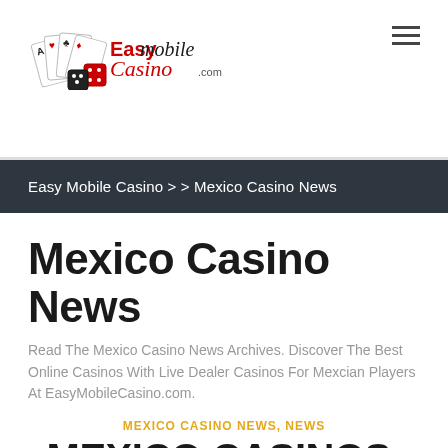[Figure (logo): EasyMobileCasino.com logo with playing cards, dice, and stylized text]
Easy Mobile Casino > > Mexico Casino News
Mexico Casino News
Read The Mexico Casino News Archives. Discover The Best Online Casinos With Live Dealer Casinos For Mexcian Players At EasyMobileCasino.com.
MEXICO CASINO NEWS, NEWS
MEXICO CASINOS, METRIC GAMING, AND